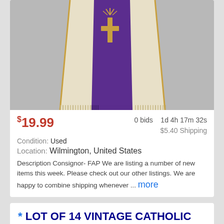[Figure (photo): Photo of a purple and cream Catholic priest stole with gold cross embroidery and fringe, hanging against a gray background]
$19.99   0 bids   1d 4h 17m 32s
$5.40 Shipping
Condition: Used
Location: Wilmington, United States
Description Consignor- FAP We are listing a number of new items this week. Please check out our other listings. We are happy to combine shipping whenever ... more
* LOT OF 14 VINTAGE CATHOLIC PRIESTS BROCADE STOLES & MANIPLES
[Figure (photo): Strip photo showing multiple colorful Catholic brocade stoles and maniples laid out]